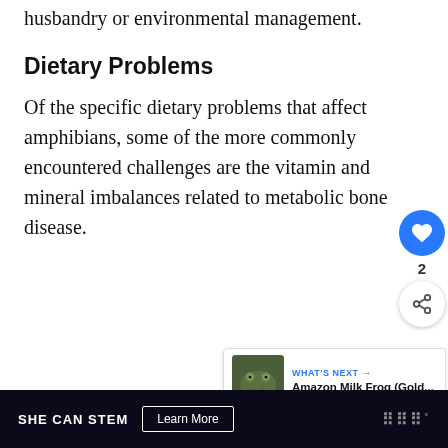husbandry or environmental management.
Dietary Problems
Of the specific dietary problems that affect amphibians, some of the more commonly encountered challenges are the vitamin and mineral imbalances related to metabolic bone disease.
[Figure (other): Social sharing UI: heart/like button showing count of 2, and a share button]
[Figure (other): What's Next card with frog thumbnail image linking to Amazon Milk Frog (Gold...)]
SHE CAN STEM  Learn More